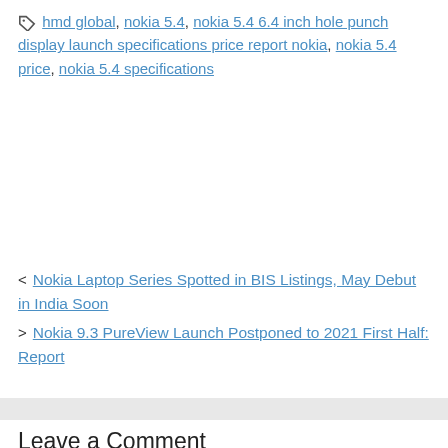hmd global, nokia 5.4, nokia 5.4 6.4 inch hole punch display launch specifications price report nokia, nokia 5.4 price, nokia 5.4 specifications
< Nokia Laptop Series Spotted in BIS Listings, May Debut in India Soon
> Nokia 9.3 PureView Launch Postponed to 2021 First Half: Report
Leave a Comment